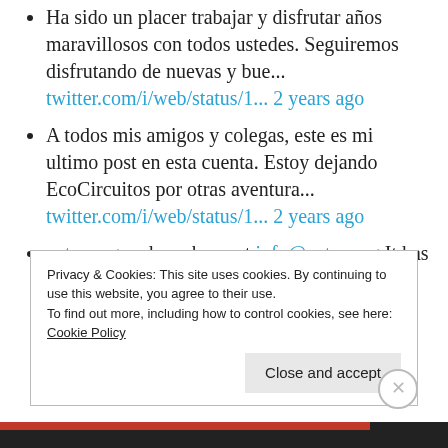Ha sido un placer trabajar y disfrutar años maravillosos con todos ustedes. Seguiremos disfrutando de nuevas y bue... twitter.com/i/web/status/1... 2 years ago
A todos mis amigos y colegas, este es mi ultimo post en esta cuenta. Estoy dejando EcoCircuitos por otras aventura... twitter.com/i/web/status/1... 2 years ago
aptso.org and reach me at info@aptso.org It has been an honor and a great pleasure working with all o... twitter.com/i/web/status/1... 2 years ago
Privacy & Cookies: This site uses cookies. By continuing to use this website, you agree to their use. To find out more, including how to control cookies, see here: Cookie Policy